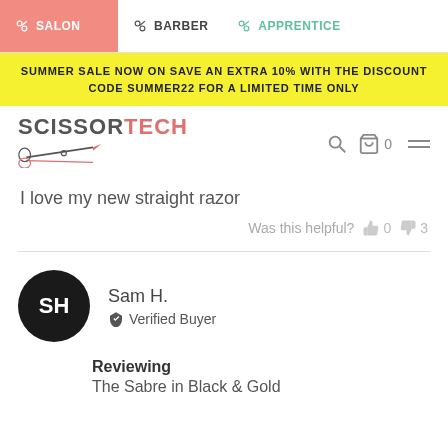SALON | BARBER | APPRENTICE
SUMMER SALE NOW ON SAVE AN EXTRA 10% WITH THE DISCOUNT CODE SUMMER22 FOR A LIMITED TIME ONLY
[Figure (logo): ScissorTech logo with scissors graphic]
I love my new straight razor
Was this helpful? 👍 0 👎 3
Sam H. Verified Buyer
Reviewing
The Sabre in Black & Gold